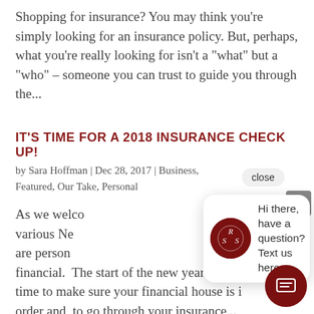Shopping for insurance? You may think you’re simply looking for an insurance policy. But, perhaps, what you’re really looking for isn’t a “what” but a “who” – someone you can trust to guide you through the…
IT’S TIME FOR A 2018 INSURANCE CHECK UP!
by Sara Hoffman | Dec 28, 2017 | Business, Featured, Our Take, Personal
As we welco… various Ne… are person… financial. The start of the new year is a good time to make sure your financial house is in order and to go through your insurance…
[Figure (screenshot): Chat popup widget showing RSS logo and message: Hi there, have a question? Text us here.]